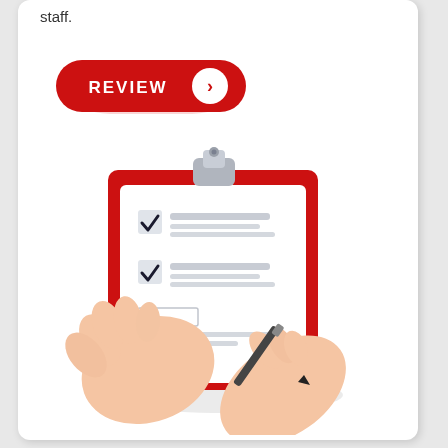staff.
[Figure (illustration): A red rounded-rectangle button labeled REVIEW with a right-arrow circle icon]
[Figure (illustration): A flat-design illustration of two hands holding a red clipboard with a checklist. Two checkmark boxes are checked, and a hand holding a pen is writing/checking a third item.]